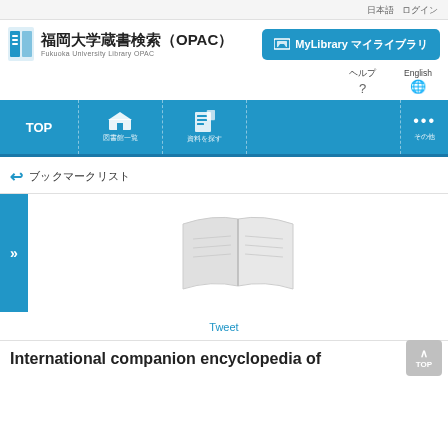日本語 ログイン
[Figure (logo): Fukuoka University Library OPAC logo with building icon]
MyLibrary マイライブラリ
ヘルプ
?
English
🌐
[Figure (screenshot): Navigation bar with TOP, 図書館一覧 (library list), 資料を探す (search), and more options]
ブックマークリスト
[Figure (illustration): Open book placeholder image in light gray]
Tweet
International companion encyclopedia of